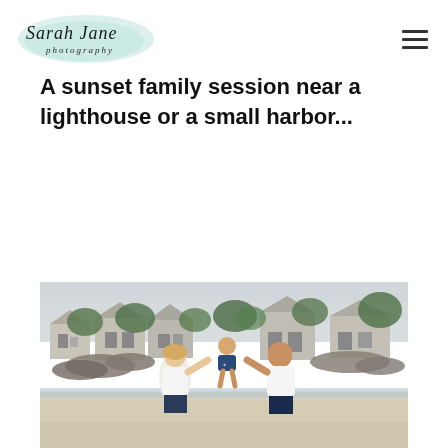[Figure (logo): Sarah Jane Photography logo in cursive script with light teal/mint watercolor background]
A sunset family session near a lighthouse or a small harbor...
[Figure (photo): A family of three (mother, father, and young child) at a rocky beach. The parents are holding the child between them and lifting/swinging the child. They are wearing white shirts and navy shorts/pants. In the background are coastal New England-style houses and trees under an overcast sky.]